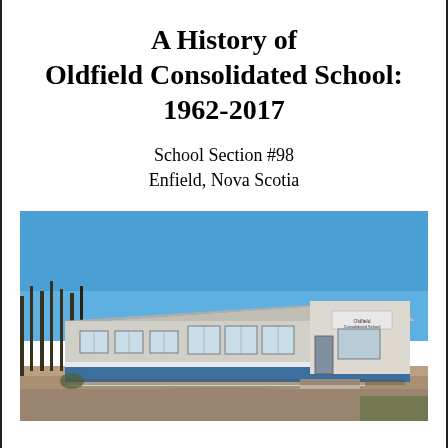A History of Oldfield Consolidated School: 1962-2017
School Section #98
Enfield, Nova Scotia
[Figure (photo): Exterior photograph of Oldfield Consolidated School building. A single-storey school building with blue and white facade and large windows, photographed in winter/early spring with bare trees and a dirt parking area in the foreground under a clear blue sky.]